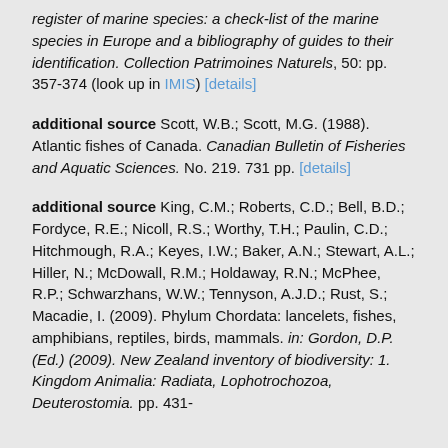register of marine species: a check-list of the marine species in Europe and a bibliography of guides to their identification. Collection Patrimoines Naturels, 50: pp. 357-374 (look up in IMIS) [details]
additional source Scott, W.B.; Scott, M.G. (1988). Atlantic fishes of Canada. Canadian Bulletin of Fisheries and Aquatic Sciences. No. 219. 731 pp. [details]
additional source King, C.M.; Roberts, C.D.; Bell, B.D.; Fordyce, R.E.; Nicoll, R.S.; Worthy, T.H.; Paulin, C.D.; Hitchmough, R.A.; Keyes, I.W.; Baker, A.N.; Stewart, A.L.; Hiller, N.; McDowall, R.M.; Holdaway, R.N.; McPhee, R.P.; Schwarzhans, W.W.; Tennyson, A.J.D.; Rust, S.; Macadie, I. (2009). Phylum Chordata: lancelets, fishes, amphibians, reptiles, birds, mammals. in: Gordon, D.P. (Ed.) (2009). New Zealand inventory of biodiversity: 1. Kingdom Animalia: Radiata, Lophotrochozoa, Deuterostomia. pp. 431-